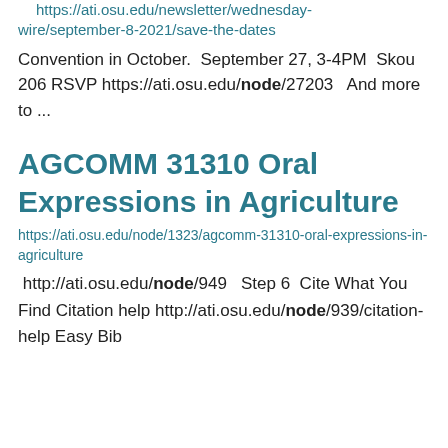https://ati.osu.edu/newsletter/wednesday-wire/september-8-2021/save-the-dates
Convention in October.  September 27, 3-4PM  Skou 206 RSVP https://ati.osu.edu/node/27203   And more to ...
AGCOMM 31310 Oral Expressions in Agriculture
https://ati.osu.edu/node/1323/agcomm-31310-oral-expressions-in-agriculture
http://ati.osu.edu/node/949   Step 6  Cite What You Find Citation help http://ati.osu.edu/node/939/citation-help Easy Bib